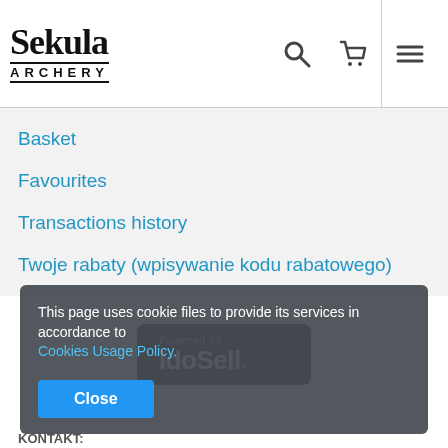SEKULA ARCHERY
Basket
Favourites
Transactions history
Twoje rabaty (wpisywanie kodu rabatowego)
[Figure (logo): Powered by IdoSell. badge — dark rounded rectangle with 'Powered by' in gray and 'IdoSell.' in white/green]
This page uses cookie files to provide its services in accordance to Cookies Usage Policy.
Close
KONTAKT: